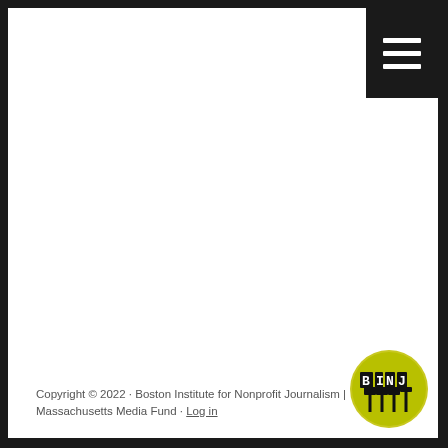[Figure (logo): Hamburger menu icon — three horizontal white lines on black background, top-right corner]
Copyright © 2022 · Boston Institute for Nonprofit Journalism | Massachusetts Media Fund · Log in
[Figure (logo): BINJ logo — yellow/olive circle with white text 'BINJ' and protest sign icons below the letters]